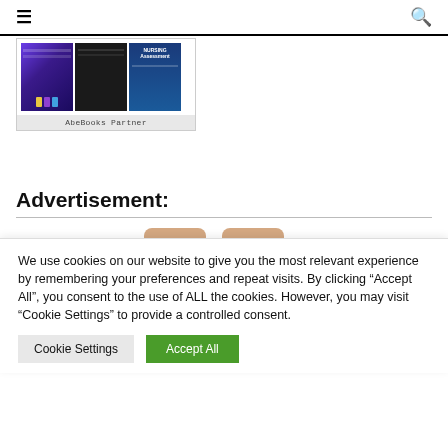≡  🔍
[Figure (screenshot): AbeBooks partner widget showing three book covers]
AbeBooks Partner
Advertisement:
[Figure (photo): Advertisement image showing beige/nude ankle support or compression sleeves on legs]
We use cookies on our website to give you the most relevant experience by remembering your preferences and repeat visits. By clicking "Accept All", you consent to the use of ALL the cookies. However, you may visit "Cookie Settings" to provide a controlled consent.
Cookie Settings    Accept All